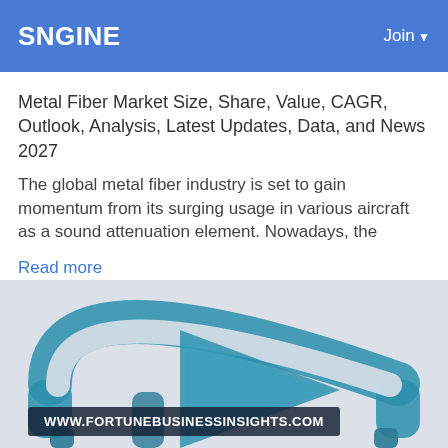SNGINE   Join
Metal Fiber Market Size, Share, Value, CAGR, Outlook, Analysis, Latest Updates, Data, and News 2027
The global metal fiber industry is set to gain momentum from its surging usage in various aircraft as a sound attenuation element. Nowadays, the
Read more
[Figure (illustration): Stylized icon showing a headphone/audio device with a play button triangle in the center, rendered in teal/blue on a light grey background]
WWW.FORTUNEBUSINESSINSIGHTS.COM